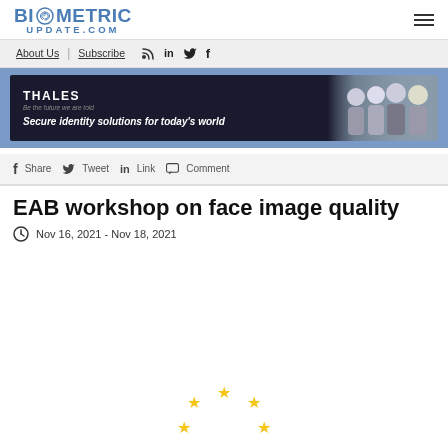BIOMETRIC UPDATE.COM
About Us | Subscribe
[Figure (screenshot): Thales advertisement banner: dark background with 'THALES' logo, tagline 'Secure identity solutions for today's world', and group photo of people on the right]
Share  Tweet  Link  Comment
EAB workshop on face image quality
Nov 16, 2021 - Nov 18, 2021
[Figure (photo): Partial view of European stars logo at bottom of page]